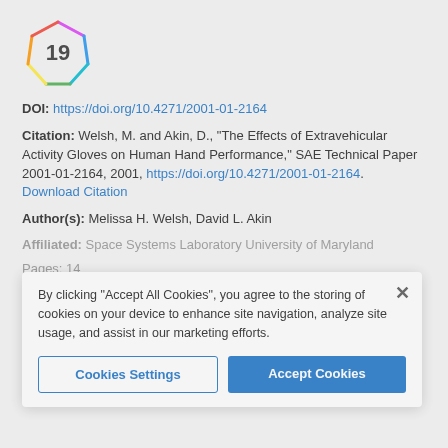[Figure (logo): Altmetric score badge showing the number 19 inside a colorful polygon shape]
DOI: https://doi.org/10.4271/2001-01-2164
Citation: Welsh, M. and Akin, D., "The Effects of Extravehicular Activity Gloves on Human Hand Performance," SAE Technical Paper 2001-01-2164, 2001, https://doi.org/10.4271/2001-01-2164. Download Citation
Author(s): Melissa H. Welsh, David L. Akin
Affiliated: Space Systems Laboratory University of Maryland
Pages: 14
Event: 31st International Conference On Environmental Systems
ISSN: 0148-7191
e-ISSN: 2688-3627
Related Topics:
FATIGUE    HAND    STANDARDIZATION
By clicking "Accept All Cookies", you agree to the storing of cookies on your device to enhance site navigation, analyze site usage, and assist in our marketing efforts.
Cookies Settings
Accept Cookies